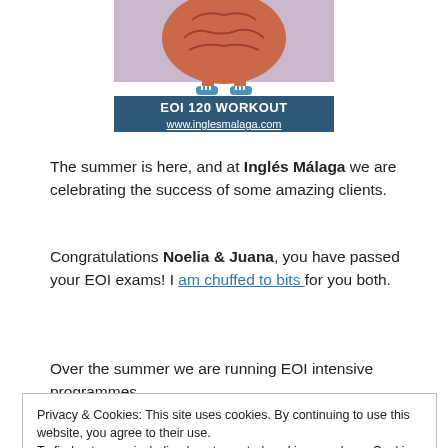[Figure (illustration): Brain mascot with sneakers above a dark blue banner reading 'EOI 120 WORKOUT' and 'www.inglesmalaga.com']
The summer is here, and at Inglés Málaga we are celebrating the success of some amazing clients.
Congratulations Noelia & Juana, you have passed your EOI exams! I am chuffed to bits for you both.
Over the summer we are running EOI intensive programmes.
Privacy & Cookies: This site uses cookies. By continuing to use this website, you agree to their use.
To find out more, including how to control cookies, see here: Cookie Policy
Close and accept
Follow